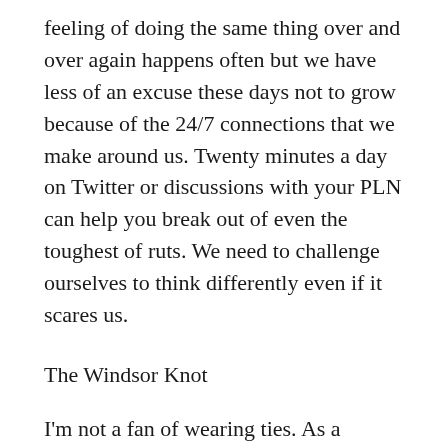feeling of doing the same thing over and over again happens often but we have less of an excuse these days not to grow because of the 24/7 connections that we make around us. Twenty minutes a day on Twitter or discussions with your PLN can help you break out of even the toughest of ruts. We need to challenge ourselves to think differently even if it scares us.
The Windsor Knot
I'm not a fan of wearing ties. As a principal, I know I should like to wrap one of those festive garments around my neck but I don't. In an effort to mix it up and trick myself into thinking I like ties, I go to YouTube and search for ways to tie different types of knots. Windsor knots always sounded classy, so I figured I would give one of those a shot. In two minutes, I learned how to tie a Windsor knot by watching the following video. The Windsor Knot